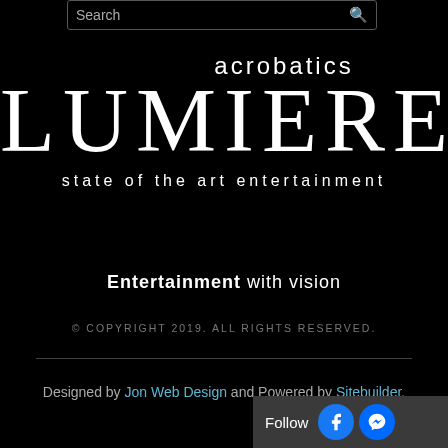[Figure (screenshot): Search bar at top with placeholder text 'Search' and a search icon]
[Figure (logo): Lumiere Acrobatics logo — large white display text 'LUMIERE' with 'acrobatics' above and 'state of the art entertainment' below, on black background]
Entertainment with vision
© COPYRIGHT 2019. ALL RIGHTS RESERVED.
Designed by Jon Web Design and Powered by Sitebuilder.
[Figure (other): Follow bar with Facebook and Messenger icons at bottom right]